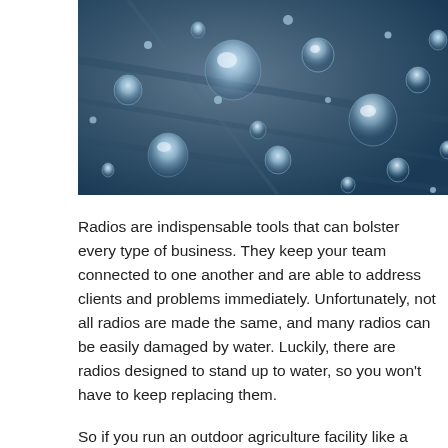[Figure (photo): Close-up photograph of water droplets on a dark blue metallic or leaf surface, showing multiple spherical droplets of various sizes with reflections.]
Radios are indispensable tools that can bolster every type of business. They keep your team connected to one another and are able to address clients and problems immediately. Unfortunately, not all radios are made the same, and many radios can be easily damaged by water. Luckily, there are radios designed to stand up to water, so you won't have to keep replacing them.
So if you run an outdoor agriculture facility like a wholesale garden store, a ski resort, or even a manufacturing facility, can rest assured that you won't be replacing your radios as frequently with waterproof push-to-talk two-way radios.